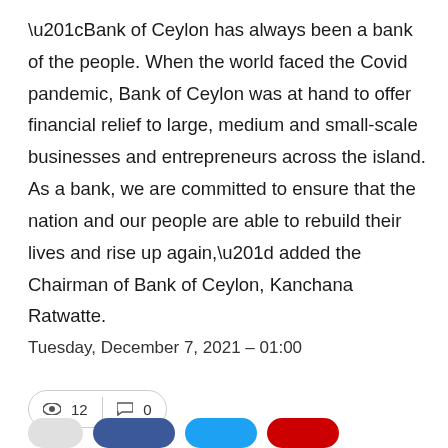“Bank of Ceylon has always been a bank of the people. When the world faced the Covid pandemic, Bank of Ceylon was at hand to offer financial relief to large, medium and small-scale businesses and entrepreneurs across the island. As a bank, we are committed to ensure that the nation and our people are able to rebuild their lives and rise up again,” added the Chairman of Bank of Ceylon, Kanchana Ratwatte.
Tuesday, December 7, 2021 – 01:00
Views: 12  Comments: 0